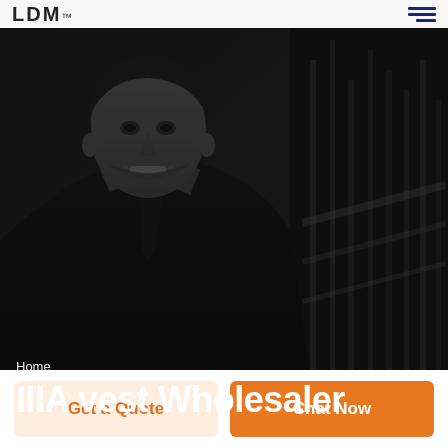LDM
[Figure (photo): Black and white photo of a smiling businessman in a suit and tie, with blurred architectural background featuring vertical columns/rods]
Home
IIIA vest Wholesaler
Get a Quote
Chat Now